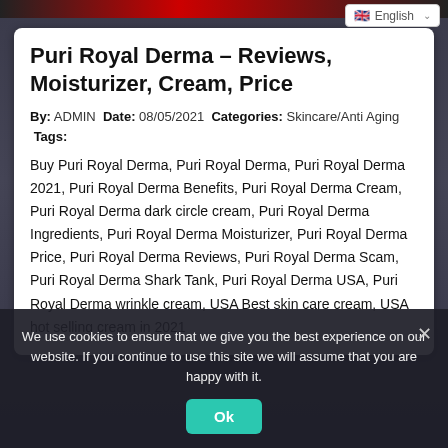[Figure (screenshot): Language selector widget showing English with UK flag and dropdown arrow]
Puri Royal Derma – Reviews, Moisturizer, Cream, Price
By: ADMIN Date: 08/05/2021 Categories: Skincare/Anti Aging Tags:
Buy Puri Royal Derma, Puri Royal Derma, Puri Royal Derma 2021, Puri Royal Derma Benefits, Puri Royal Derma Cream, Puri Royal Derma dark circle cream, Puri Royal Derma Ingredients, Puri Royal Derma Moisturizer, Puri Royal Derma Price, Puri Royal Derma Reviews, Puri Royal Derma Scam, Puri Royal Derma Shark Tank, Puri Royal Derma USA, Puri Royal Derma wrinkle cream, USA Best skin care cream, USA hot selling cream in 2021
We use cookies to ensure that we give you the best experience on our website. If you continue to use this site we will assume that you are happy with it.